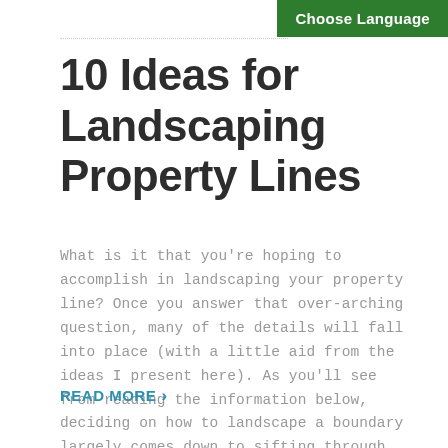Choose Language
10 Ideas for Landscaping Property Lines
What is it that you're hoping to accomplish in landscaping your property line? Once you answer that over-arching question, many of the details will fall into place (with a little aid from the ideas I present here). As you'll see from reading the information below, deciding on how to landscape a boundary largely comes down to sifting through your various options.
READ MORE ›